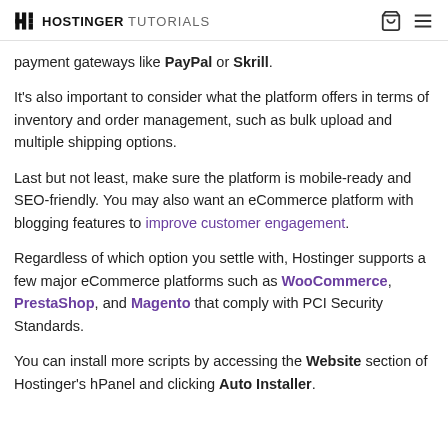HOSTINGER TUTORIALS
payment gateways like PayPal or Skrill.
It's also important to consider what the platform offers in terms of inventory and order management, such as bulk upload and multiple shipping options.
Last but not least, make sure the platform is mobile-ready and SEO-friendly. You may also want an eCommerce platform with blogging features to improve customer engagement.
Regardless of which option you settle with, Hostinger supports a few major eCommerce platforms such as WooCommerce, PrestaShop, and Magento that comply with PCI Security Standards.
You can install more scripts by accessing the Website section of Hostinger's hPanel and clicking Auto Installer.